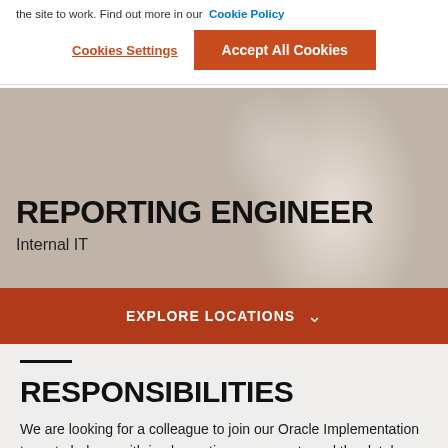the site to work. Find out more in our Cookie Policy
Cookies Settings
Accept All Cookies
REPORTING ENGINEER
Internal IT
EXPLORE LOCATIONS
RESPONSIBILITIES
We are looking for a colleague to join our Oracle Implementation team to help us with implementing new reports and the database objects needed. The team is